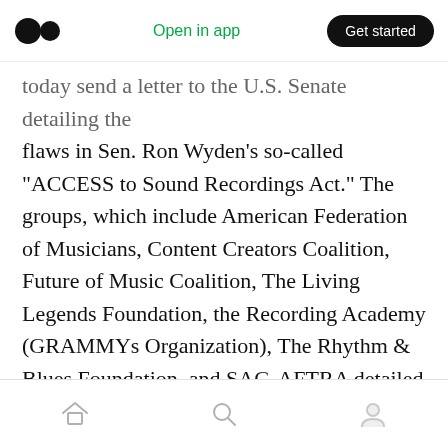Open in app | Get started
today send a letter to the U.S. Senate detailing the flaws in Sen. Ron Wyden's so-called “ACCESS to Sound Recordings Act.” The groups, which include American Federation of Musicians, Content Creators Coalition, Future of Music Coalition, The Living Legends Foundation, the Recording Academy (GRAMMYs Organization), The Rhythm & Blues Foundation, and SAG-AFTRA detailed how Wyden’s bill would undermine the retirement security of elderly artists before reiterating their support for the CLASSICS Act.
Home | Search | Profile